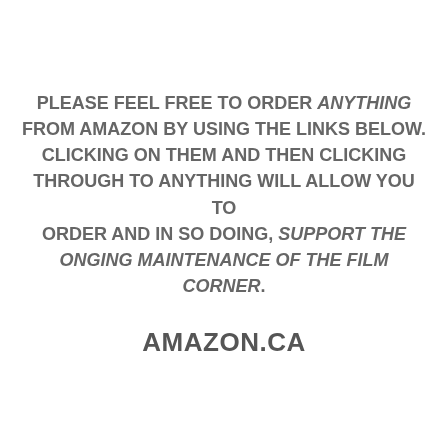PLEASE FEEL FREE TO ORDER ANYTHING FROM AMAZON BY USING THE LINKS BELOW. CLICKING ON THEM AND THEN CLICKING THROUGH TO ANYTHING WILL ALLOW YOU TO ORDER AND IN SO DOING, SUPPORT THE ONGING MAINTENANCE OF THE FILM CORNER.
AMAZON.CA